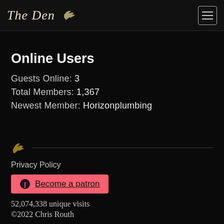The Den
Online Users
Guests Online: 3
Total Members: 1,367
Newest Member: Horizonplumbing
Privacy Policy
Become a patron
52,074,338 unique visits
©2022 Chris Routh